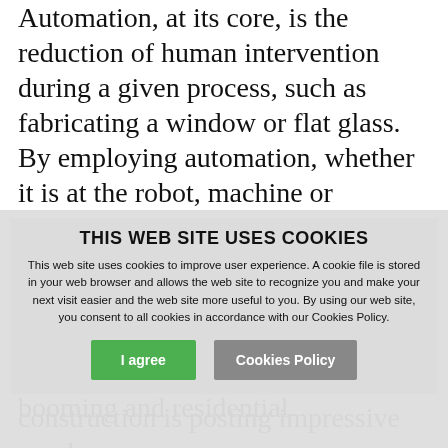Automation, at its core, is the reduction of human intervention during a given process, such as fabricating a window or flat glass. By employing automation, whether it is at the robot, machine or software level, we as an industry can enhance worker performance, while simultaneously freeing up...
THIS WEB SITE USES COOKIES
This web site uses cookies to improve user experience. A cookie file is stored in your web browser and allows the web site to recognize you and make your next visit easier and the web site more useful to you. By using our web site, you consent to all cookies in accordance with our Cookies Policy.
[I agree] [Cookies Policy]
The flat glass and window industry looks forward to a robust 2021 and beyond as demand is booming and residential construction is posting impressive numbers.